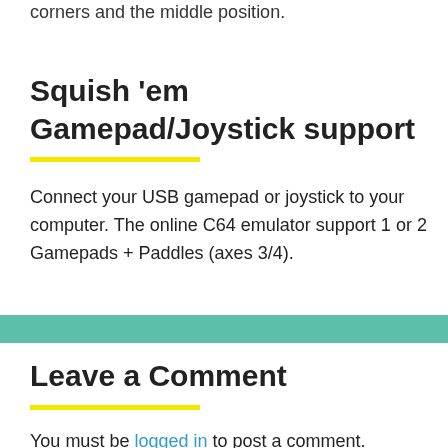corners and the middle position.
Squish ‘em Gamepad/Joystick support
Connect your USB gamepad or joystick to your computer. The online C64 emulator support 1 or 2 Gamepads + Paddles (axes 3/4).
Leave a Comment
You must be logged in to post a comment.